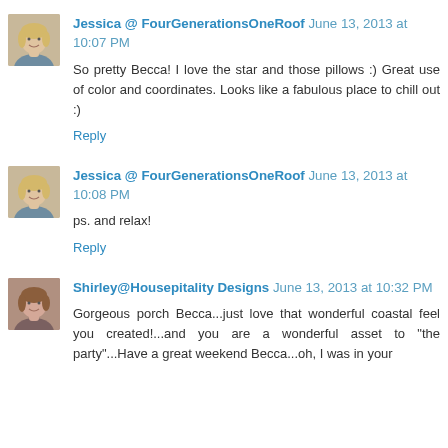Jessica @ FourGenerationsOneRoof June 13, 2013 at 10:07 PM
So pretty Becca! I love the star and those pillows :) Great use of color and coordinates. Looks like a fabulous place to chill out :)
Reply
Jessica @ FourGenerationsOneRoof June 13, 2013 at 10:08 PM
ps. and relax!
Reply
Shirley@Housepitality Designs June 13, 2013 at 10:32 PM
Gorgeous porch Becca...just love that wonderful coastal feel you created!...and you are a wonderful asset to "the party"...Have a great weekend Becca...oh, I was in your